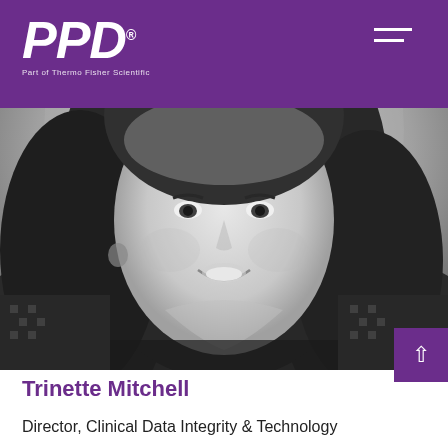PPD® Part of Thermo Fisher Scientific
[Figure (photo): Black and white headshot photograph of Trinette Mitchell, a woman with long wavy dark hair, smiling]
Trinette Mitchell
Director, Clinical Data Integrity & Technology